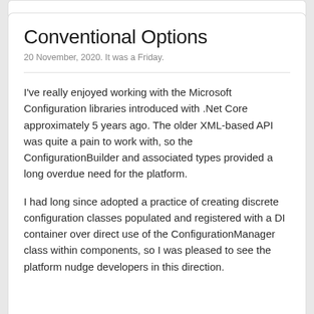Conventional Options
20 November, 2020. It was a Friday.
I've really enjoyed working with the Microsoft Configuration libraries introduced with .Net Core approximately 5 years ago. The older XML-based API was quite a pain to work with, so the ConfigurationBuilder and associated types provided a long overdue need for the platform.
I had long since adopted a practice of creating discrete configuration classes populated and registered with a DI container over direct use of the ConfigurationManager class within components, so I was pleased to see the platform nudge developers in this direction.